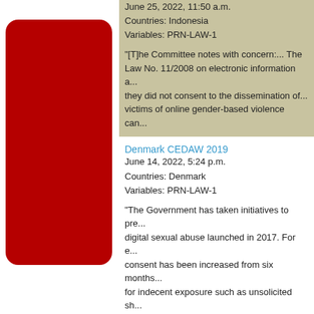June 25, 2022, 11:50 a.m.
Countries: Indonesia
Variables: PRN-LAW-1
"[T]he Committee notes with concern:... The Law No. 11/2008 on electronic information a... they did not consent to the dissemination of... victims of online gender-based violence can...
Denmark CEDAW 2019
June 14, 2022, 5:24 p.m.
Countries: Denmark
Variables: PRN-LAW-1
"The Government has taken initiatives to pre... digital sexual abuse launched in 2017. For e... consent has been increased from six months... for indecent exposure such as unsolicited sh... to educate police personnel to better handle... make it easier to report digital sexual...more
SERBIA 2019 HUMAN RIGHTS REPORT
May 27, 2022, 11:45 a.m.